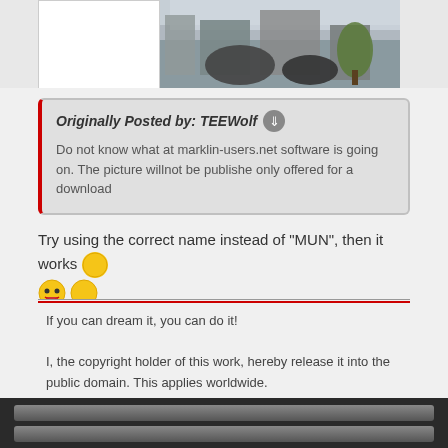[Figure (photo): Partial view of a train station or industrial hall with machinery and a tree, shown as a cropped top image]
Originally Posted by: TEEWolf
Do not know what at marklin-users.net software is going on. The picture willnot be publishe only offered for a download
Try using the correct name instead of "MUN", then it works [emoji] [emoji] [emoji]
Per.
[Figure (illustration): Cool face / sunglasses smiley emoji]
If you can dream it, you can do it!

I, the copyright holder of this work, hereby release it into the public domain. This applies worldwide.